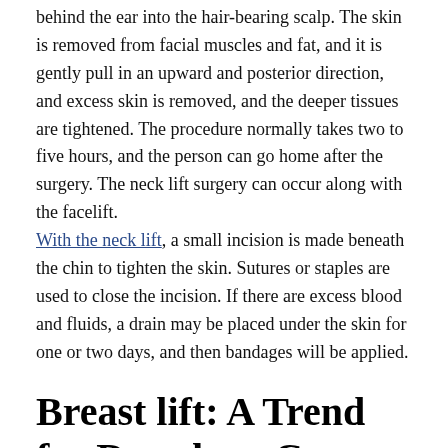behind the ear into the hair-bearing scalp. The skin is removed from facial muscles and fat, and it is gently pull in an upward and posterior direction, and excess skin is removed, and the deeper tissues are tightened. The procedure normally takes two to five hours, and the person can go home after the surgery. The neck lift surgery can occur along with the facelift. With the neck lift, a small incision is made beneath the chin to tighten the skin. Sutures or staples are used to close the incision. If there are excess blood and fluids, a drain may be placed under the skin for one or two days, and then bandages will be applied.
Breast lift: A Trend for Decade to Come
Women breast change over time and several changes contribute to it, such as age, weight fluctuation, and pregnancy. These